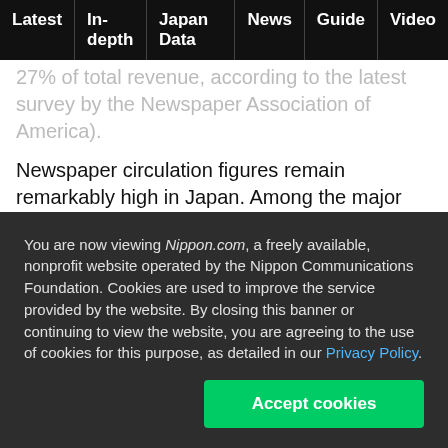Latest | In-depth | Japan Data | News | Guide | Video
27% of total revenue, according to the latest survey by the Newspaper Association of America).
Newspaper circulation figures remain remarkably high in Japan. Among the major national papers, the Yomiuri Shimbun—Japan's largest—puts its circulation at slightly less than 10 million. The number two Asahi Shimbun has an official circulation just shy of 8 million. Japan's regional newspapers typically reach 50% of
You are now viewing Nippon.com, a freely available, nonprofit website operated by the Nippon Communications Foundation. Cookies are used to improve the service provided by the website. By closing this banner or continuing to view the website, you are agreeing to the use of cookies for this purpose, as detailed in our Privacy Policy.
Accept cookies